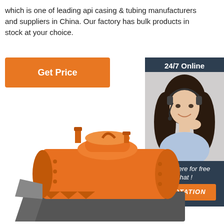which is one of leading api casing & tubing manufacturers and suppliers in China. Our factory has bulk products in stock at your choice.
[Figure (other): Orange 'Get Price' button]
[Figure (other): 24/7 Online customer service sidebar with photo of woman wearing headset and 'Click here for free chat!' text and QUOTATION button]
[Figure (photo): Orange industrial boiler/furnace machine with dark grey base]